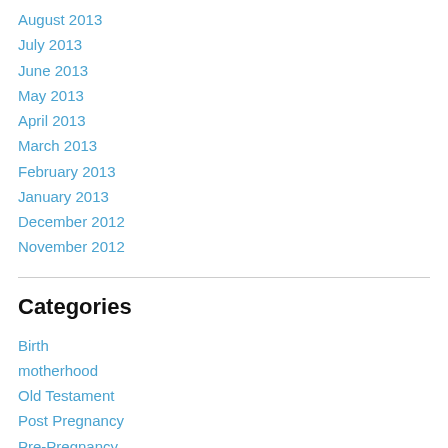August 2013
July 2013
June 2013
May 2013
April 2013
March 2013
February 2013
January 2013
December 2012
November 2012
Categories
Birth
motherhood
Old Testament
Post Pregnancy
Pre-Pregnancy
Pregnancy